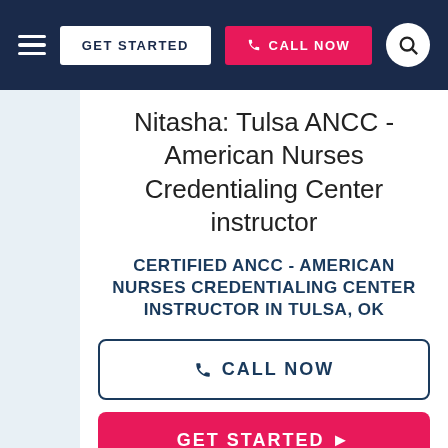≡  GET STARTED  📞 CALL NOW  🔍
Nitasha: Tulsa ANCC - American Nurses Credentialing Center instructor
CERTIFIED ANCC - AMERICAN NURSES CREDENTIALING CENTER INSTRUCTOR IN TULSA, OK
📞 CALL NOW
GET STARTED ▶
Dual-certified family nurse practitioner